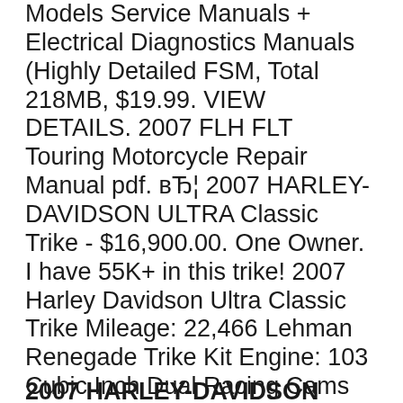Models Service Manuals + Electrical Diagnostics Manuals (Highly Detailed FSM, Total 218MB, $19.99. VIEW DETAILS. 2007 FLH FLT Touring Motorcycle Repair Manual pdf. вЂ¦ 2007 HARLEY-DAVIDSON ULTRA Classic Trike - $16,900.00. One Owner. I have 55K+ in this trike! 2007 Harley Davidson Ultra Classic Trike Mileage: 22,466 Lehman Renegade Trike Kit Engine: 103 Cubic Inch Dual Racing Cams Manual Reverse Vance Hines Exhaust Pipes CD, AM, FM, Weather, And Intercom Backup Camera Lots Of Chrome Custom Mirrors Custom Flamed Grips Custom Mag Rims Luggage вЂ¦
2007 HARLEY-DAVIDSON ULTRA Classic...